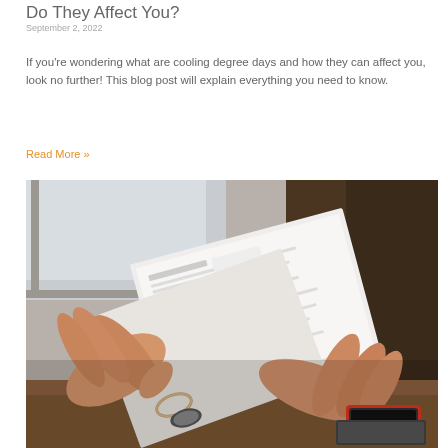Do They Affect You?
September 2, 2022
If you're wondering what are cooling degree days and how they can affect you, look no further! This blog post will explain everything you need to know.
Read More »
[Figure (photo): Hands holding and reading a paper document or bill near a window, with a red smartphone and notebook visible on a wooden desk in the background.]